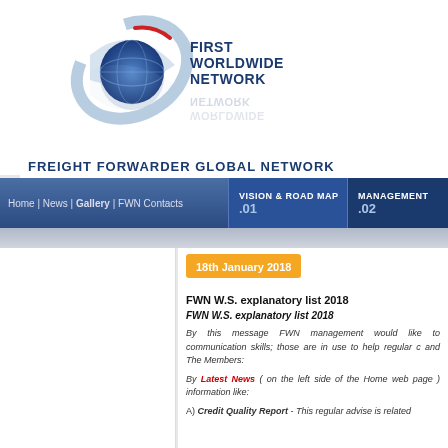[Figure (logo): First Worldwide Network logo with globe and swoosh design, with reflection below]
FREIGHT FORWARDER GLOBAL NETWORK
Home | News | Gallery | FWN Contacts | VISION & ROAD MAP .01 | MANAGEMENT .02
LATEST NEWS
2022
» 02nd August 2022
FWN Jan-Jun 2022 Ranking
» 02nd August 2022
FWN June 2022 Ranking
» 18th July 2022
FWN Credit Quality Report
» 04th July 2022
FWN Jan-May 2022 Ranking
» 04th July 2022
FWN May 2022 Ranking
18th January 2018
FWN W.S. explanatory list 2018
FWN W.S. explanatory list 2018
By this message FWN management would like to communication skills; those are in use to help regular c and The Members:
By Latest News ( on the left side of the Home web page ) information like:
A) Credit Quality Report - This regular advise is related